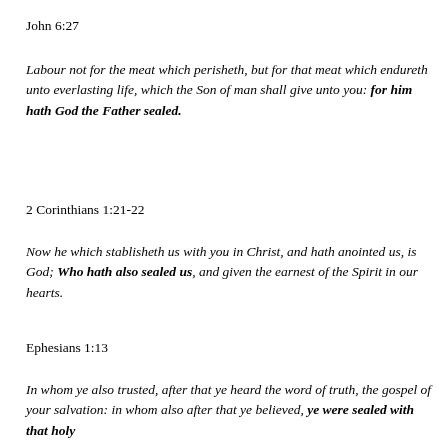John 6:27
Labour not for the meat which perisheth, but for that meat which endureth unto everlasting life, which the Son of man shall give unto you: for him hath God the Father sealed.
2 Corinthians 1:21-22
Now he which stablisheth us with you in Christ, and hath anointed us, is God; Who hath also sealed us, and given the earnest of the Spirit in our hearts.
Ephesians 1:13
In whom ye also trusted, after that ye heard the word of truth, the gospel of your salvation: in whom also after that ye believed, ye were sealed with that holy